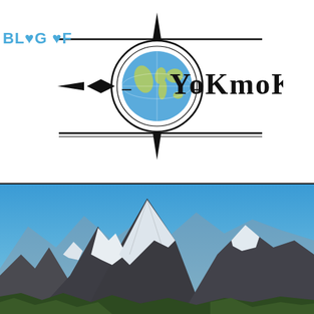[Figure (logo): Blog of Yokmok logo with compass rose and globe icon, decorative horizontal lines]
We join the World Environment Day
[Figure (photo): Snow-capped mountain peaks under a clear blue sky, with rocky dark cliffs and glacial snow patches, green vegetation visible at the base]